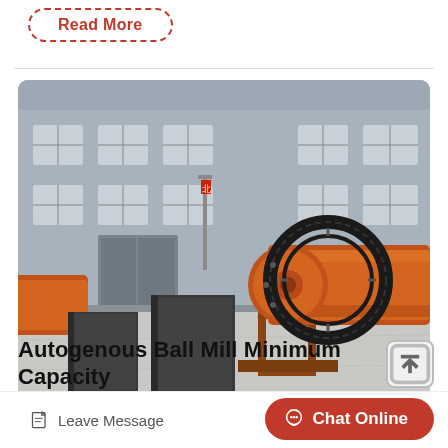Read More
[Figure (photo): Industrial ball mill equipment photographed in a factory yard. Two large dark steel cylindrical tube sections lie on the ground. An orange ball mill machine with a large gear ring is visible, extending to the right. A grey industrial building is in the background.]
Autogenous Ball Mill Minimum Capacity
Leave Message
Chat Online